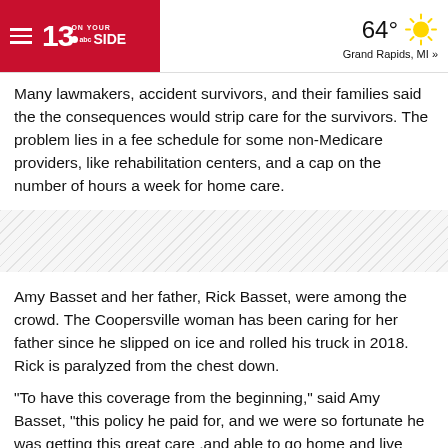13 ON YOUR SIDE | 64° Grand Rapids, MI »
[Figure (screenshot): Horizontal hatched/striped advertisement placeholder area]
Many lawmakers, accident survivors, and their families said the the consequences would strip care for the survivors. The problem lies in a fee schedule for some non-Medicare providers, like rehabilitation centers, and a cap on the number of hours a week for home care.
Amy Basset and her father, Rick Basset, were among the crowd. The Coopersville woman has been caring for her father since he slipped on ice and rolled his truck in 2018. Rick is paralyzed from the chest down.
"To have this coverage from the beginning," said Amy Basset, "this policy he paid for, and we were so fortunate he was getting this great care ,and able to go home and live